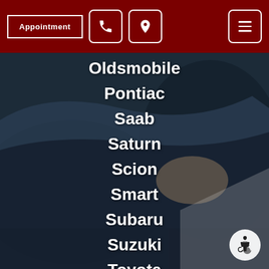Appointment [phone icon] [location icon] [menu icon]
Oldsmobile
Pontiac
Saab
Saturn
Scion
Smart
Subaru
Suzuki
Toyota
Volks... (partial)